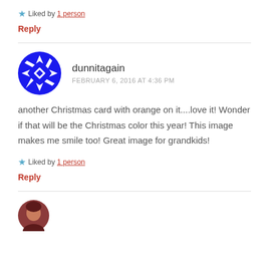★ Liked by 1 person
Reply
dunnitagain
FEBRUARY 6, 2016 AT 4:36 PM
another Christmas card with orange on it....love it! Wonder if that will be the Christmas color this year! This image makes me smile too! Great image for grandkids!
★ Liked by 1 person
Reply